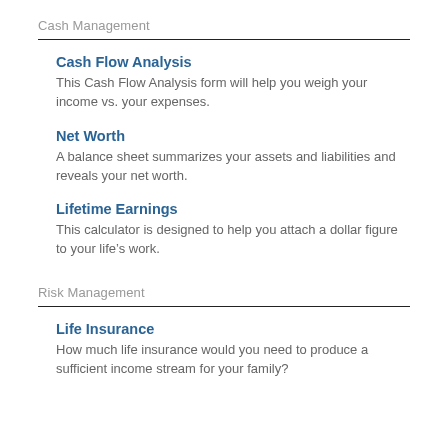Cash Management
Cash Flow Analysis
This Cash Flow Analysis form will help you weigh your income vs. your expenses.
Net Worth
A balance sheet summarizes your assets and liabilities and reveals your net worth.
Lifetime Earnings
This calculator is designed to help you attach a dollar figure to your life’s work.
Risk Management
Life Insurance
How much life insurance would you need to produce a sufficient income stream for your family?